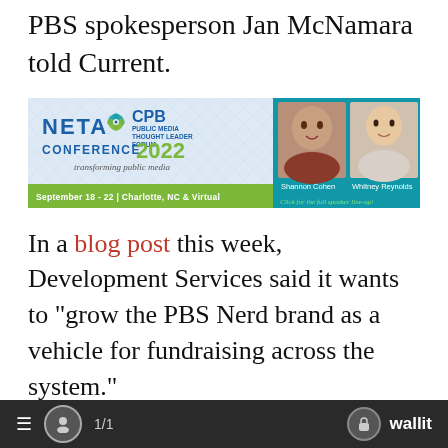PBS spokesperson Jan McNamara told Current.
[Figure (other): NETA Conference 2022 CPB Public Media Thought Leader Forum advertisement banner. September 18–22 | Charlotte, NC & Virtual. Transforming public media. Features photos of Shannon Cohen and Whitney Reynolds. Click for the full speaker line-up!]
In a blog post this week, Development Services said it wants to “grow the PBS Nerd brand as a vehicle for fundraising across the system.”
Th...h the pilot program with...stations
≡  1/1   wallit